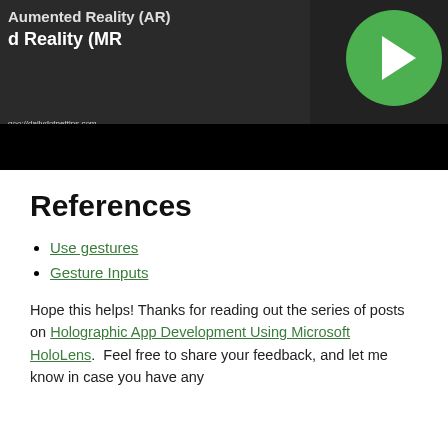[Figure (screenshot): Partial screenshot of a video thumbnail showing 'Mixed Reality (MR)' text in white on a dark background with a 3D scene. A green play button circle is visible on the right. A URL 'goo://dailydotnettips.com' appears in small text. A black bar runs across the bottom.]
References
Use gestures
Gesture Inputs
Hope this helps! Thanks for reading out the series of posts on Holographic App Development Using Microsoft HoloLens.  Feel free to share your feedback, and let me know in case you have any